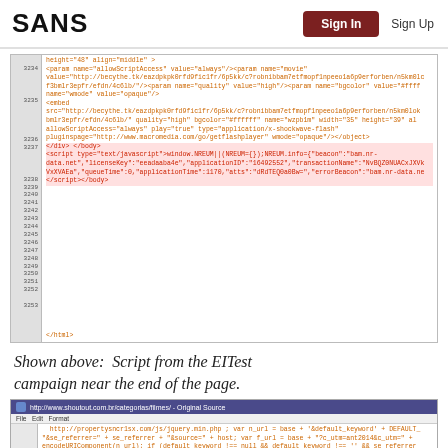SANS  Sign In  Sign Up
[Figure (screenshot): Code editor screenshot showing HTML source lines 3234-3253 with highlighted script and embed tags containing suspicious URLs. Lines 3236-3237 are highlighted in red/orange indicating malicious script injection.]
Shown above:  Script from the EITest campaign near the end of the page.
[Figure (screenshot): Browser source view of http://www.shoutout.com.br/categorias/filmes/ showing JavaScript code with document.write and script injection, lines 299-302 visible.]